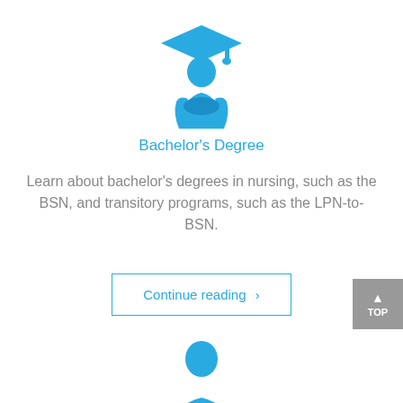[Figure (illustration): Blue icon of a graduate student wearing a mortarboard cap, holding a book]
Bachelor's Degree
Learn about bachelor's degrees in nursing, such as the BSN, and transitory programs, such as the LPN-to-BSN.
Continue reading >
[Figure (illustration): Blue icon of a nurse/medical professional with a plus sign on their uniform]
Master's Degree